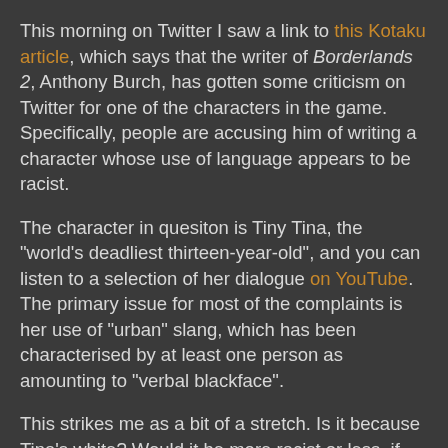This morning on Twitter I saw a link to this Kotaku article, which says that the writer of Borderlands 2, Anthony Burch, has gotten some criticism on Twitter for one of the characters in the game. Specifically, people are accusing him of writing a character whose use of language appears to be racist.
The character in quesiton is Tiny Tina, the "world's deadliest thirteen-year-old", and you can listen to a selection of her dialogue on YouTube. The primary issue for most of the complaints is her use of "urban" slang, which has been characterised by at least one person as amounting to "verbal blackface".
This strikes me as a bit of a stretch. Is it because Tina's white? Would it be more racist or less, if the character was black? Why can't a white person use "ghetto" slang? Surely there are lower-class white people in ghettos who have as much exposure to that culture as the black kids in those areas - is their use of local dialects somehow less authentic or less genuine?
What if it wasn't "black" slang, but sticking Japanese words...